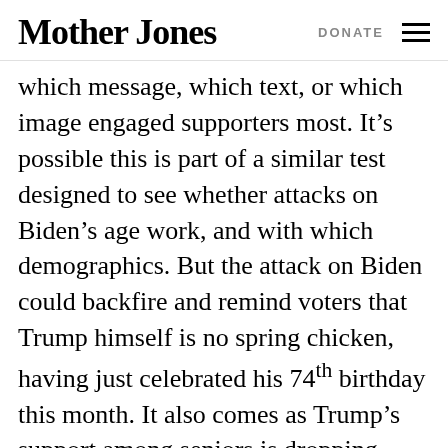Mother Jones | DONATE
which message, which text, or which image engaged supporters most. It’s possible this is part of a similar test designed to see whether attacks on Biden’s age work, and with which demographics. But the attack on Biden could backfire and remind voters that Trump himself is no spring chicken, having just celebrated his 74th birthday this month. It also comes as Trump’s support among seniors is dropping, perhaps the greatest threat to his re-election.
That erosion of support among a once solid demographic goes a long way to explaining why, with less than six months until the November elections, polls consistently show Trump losing to